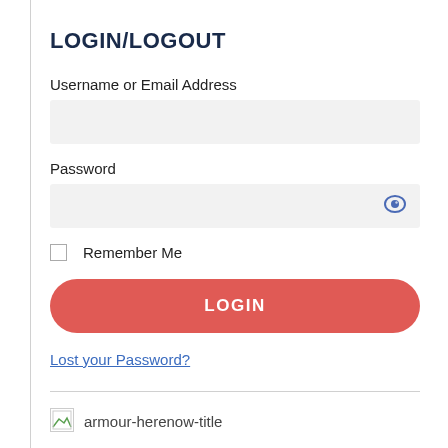LOGIN/LOGOUT
Username or Email Address
Password
Remember Me
LOGIN
Lost your Password?
[Figure (other): Broken image placeholder with alt text 'armour-herenow-title']
armour-herenow-title